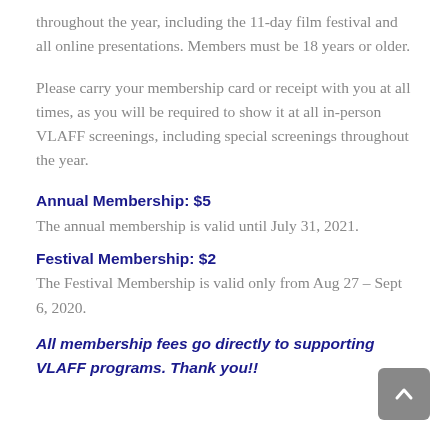throughout the year, including the 11-day film festival and all online presentations. Members must be 18 years or older.
Please carry your membership card or receipt with you at all times, as you will be required to show it at all in-person VLAFF screenings, including special screenings throughout the year.
Annual Membership: $5
The annual membership is valid until July 31, 2021.
Festival Membership: $2
The Festival Membership is valid only from Aug 27 – Sept 6, 2020.
All membership fees go directly to supporting VLAFF programs. Thank you!!